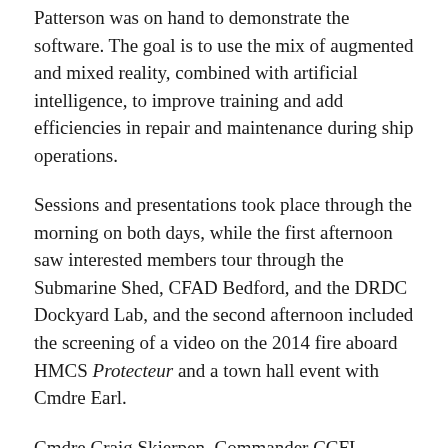Patterson was on hand to demonstrate the software. The goal is to use the mix of augmented and mixed reality, combined with artificial intelligence, to improve training and add efficiencies in repair and maintenance during ship operations.
Sessions and presentations took place through the morning on both days, while the first afternoon saw interested members tour through the Submarine Shed, CFAD Bedford, and the DRDC Dockyard Lab, and the second afternoon included the screening of a video on the 2014 fire aboard HMCS Protecteur and a town hall event with Cmdre Earl.
Cmdre Craig Skjerpen, Commander CCFL, spoke to members to kick the seminar off on May 29, and said these kind of opportunities for networking, breaking down silos and solving problems can be hard to come by. He encouraged the members to make the most of the two days.